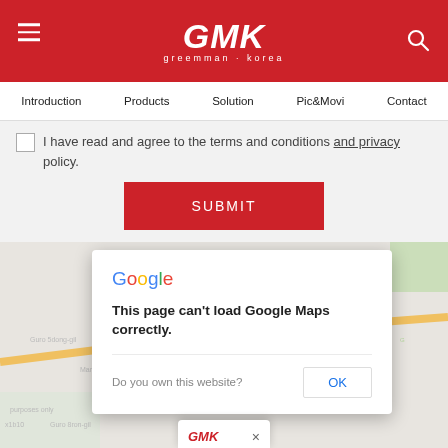GMK greemman korea
Introduction | Products | Solution | Pic&Movi | Contact
I have read and agree to the terms and conditions and privacy policy.
SUBMIT
[Figure (screenshot): Google Maps error dialog overlay on a map background. Dialog shows: Google logo, 'This page can't load Google Maps correctly.', 'Do you own this website?' with an OK button. Below is a partial GMK popup marker at the bottom.]